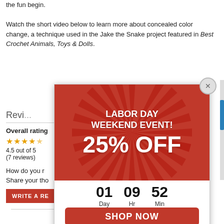the fun begin.
Watch the short video below to learn more about concealed color change, a technique used in the Jake the Snake project featured in Best Crochet Animals, Toys & Dolls.
Reviews
Overall rating
4.5 out of 5
(7 reviews)
How do you r
Share your tho
WRITE A RE
[Figure (screenshot): Labor Day Weekend Event popup ad: 25% OFF, countdown 01 Day 09 Hr 52 Min, SHOP NOW button on red background with sunburst pattern]